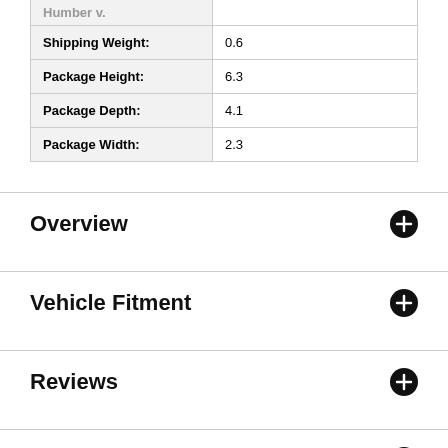| Humber v. |  |
| Shipping Weight: | 0.6 |
| Package Height: | 6.3 |
| Package Depth: | 4.1 |
| Package Width: | 2.3 |
Overview
Vehicle Fitment
Reviews
Q & A